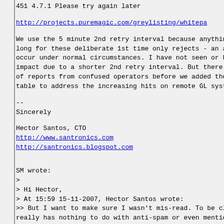451 4.7.1 Please try again later
http://projects.puremagic.com/greylisting/whitepa
We use the 5 minute 2nd retry interval because anything long for these deliberate 1st time only rejects - an ac occur under normal circumstances. I have not seen or he impact due to a shorter 2nd retry interval. But there w of reports from confused operators before we added the table to address the increasing hits on remote GL syste
--
Sincerely

Hector Santos, CTO
http://www.santronics.com
http://santronics.blogspot.com
SM wrote:
>
> Hi Hector,
> At 15:59 15-11-2007, Hector Santos wrote:
>> But I want to make sure I wasn't mis-read. To be cle really has nothing to do with anti-spam or even mention have it saving:
>>
>> 4.5.4.1 Sending Strategy
>>
>> ...